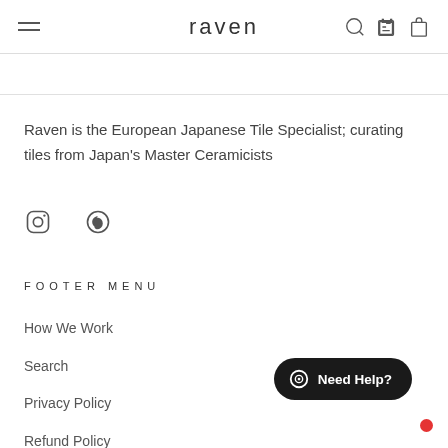raven
Raven is the European Japanese Tile Specialist; curating tiles from Japan's Master Ceramicists
[Figure (other): Instagram and Pinterest social media icons]
FOOTER MENU
How We Work
Search
Privacy Policy
Refund Policy
Shipping Policy
[Figure (other): Need Help? chat button with red notification dot]